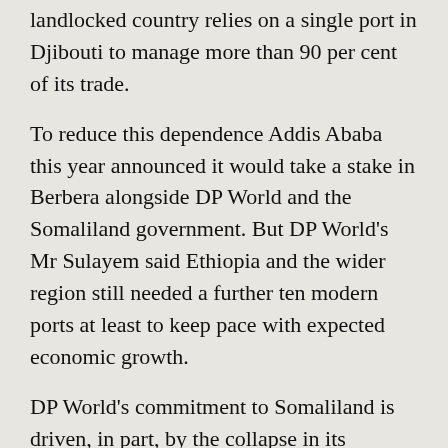landlocked country relies on a single port in Djibouti to manage more than 90 per cent of its trade.
To reduce this dependence Addis Ababa this year announced it would take a stake in Berbera alongside DP World and the Somaliland government. But DP World's Mr Sulayem said Ethiopia and the wider region still needed a further ten modern ports at least to keep pace with expected economic growth.
DP World's commitment to Somaliland is driven, in part, by the collapse in its relations with Djibouti to the north, where until this year it ran the Dolareh container terminal, the only modern port along this section of Africa's coastline. In February, Djibouti seized Doraleh after accusing DP World of deliberately under-using the port in favour of Berbera and other regional terminals.